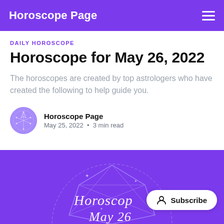Horoscope Page
DAILY HOROSCOPE
Horoscope for May 26, 2022
The horoscopes are created by top astrologers who have created the following to help guide you.
Horoscope Page
May 25, 2022 • 3 min read
[Figure (illustration): Purple background hero image with geometric constellation/zodiac line art design and script handwriting text 'Horoscope May 26' overlaid. A white Subscribe button with person icon is visible in the lower right.]